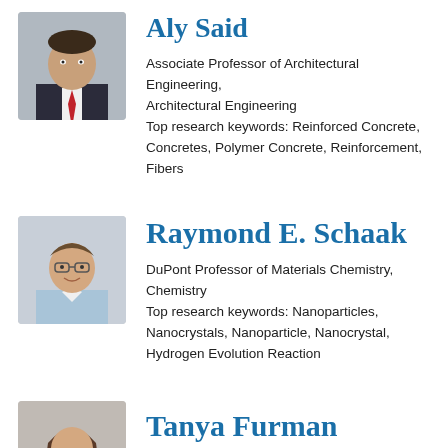[Figure (photo): Headshot of Aly Said, a man in a suit with a red tie]
Aly Said
Associate Professor of Architectural Engineering, Architectural Engineering
Top research keywords: Reinforced Concrete, Concretes, Polymer Concrete, Reinforcement, Fibers
[Figure (photo): Headshot of Raymond E. Schaak, a man with glasses and short hair]
Raymond E. Schaak
DuPont Professor of Materials Chemistry, Chemistry
Top research keywords: Nanoparticles, Nanocrystals, Nanoparticle, Nanocrystal, Hydrogen Evolution Reaction
[Figure (photo): Headshot of Tanya Furman, a woman with shoulder-length hair]
Tanya Furman